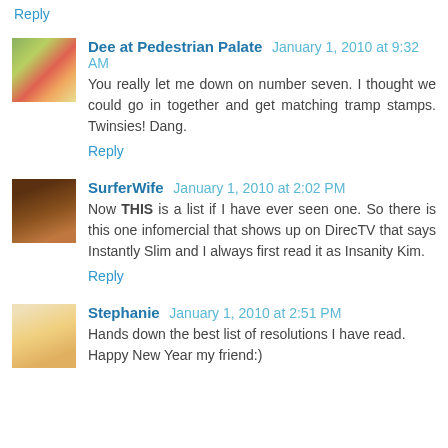Reply
Dee at Pedestrian Palate  January 1, 2010 at 9:32 AM
You really let me down on number seven. I thought we could go in together and get matching tramp stamps. Twinsies! Dang.
Reply
SurferWife  January 1, 2010 at 2:02 PM
Now THIS is a list if I have ever seen one. So there is this one infomercial that shows up on DirecTV that says Instantly Slim and I always first read it as Insanity Kim.
Reply
Stephanie  January 1, 2010 at 2:51 PM
Hands down the best list of resolutions I have read. Happy New Year my friend:)